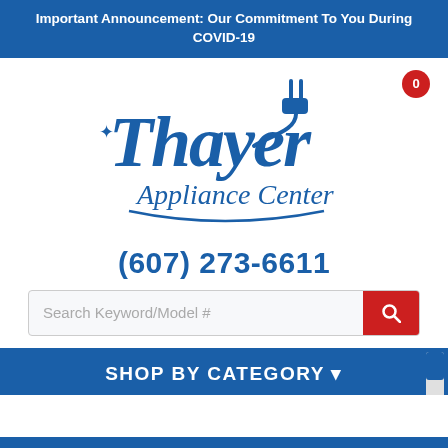Important Announcement: Our Commitment To You During COVID-19
[Figure (logo): Thayer Appliance Center logo in blue cursive script with a plug icon]
(607) 273-6611
Search Keyword/Model #
SHOP BY CATEGORY